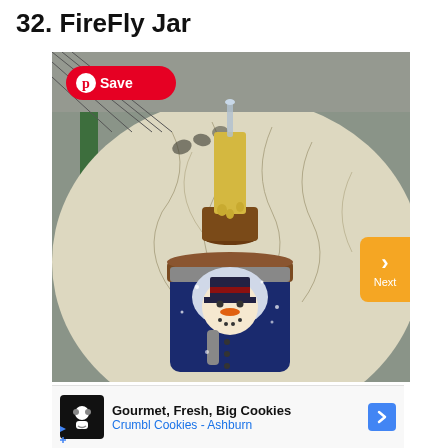32. FireFly Jar
[Figure (photo): Photo of a decorated mason jar with a painted snowman on dark blue background, topped with a wooden base and a gold/cream candle holder with LED light. Set against a large crackle-painted white decorative plate and green fence background. A red Pinterest 'Save' button overlay appears at top left. An orange 'Next' navigation arrow appears at right edge.]
Gourmet, Fresh, Big Cookies
Crumbl Cookies - Ashburn